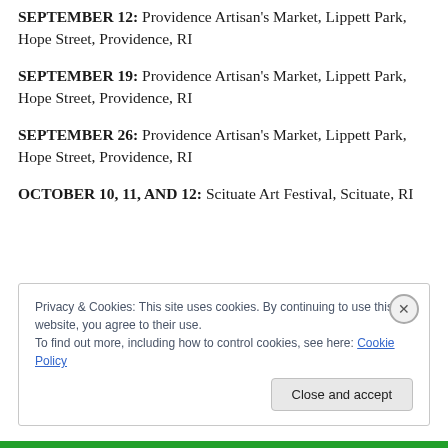SEPTEMBER 12: Providence Artisan's Market, Lippett Park, Hope Street, Providence, RI
SEPTEMBER 19: Providence Artisan's Market, Lippett Park, Hope Street, Providence, RI
SEPTEMBER 26: Providence Artisan's Market, Lippett Park, Hope Street, Providence, RI
OCTOBER 10, 11, AND 12: Scituate Art Festival, Scituate, RI
Privacy & Cookies: This site uses cookies. By continuing to use this website, you agree to their use.
To find out more, including how to control cookies, see here: Cookie Policy